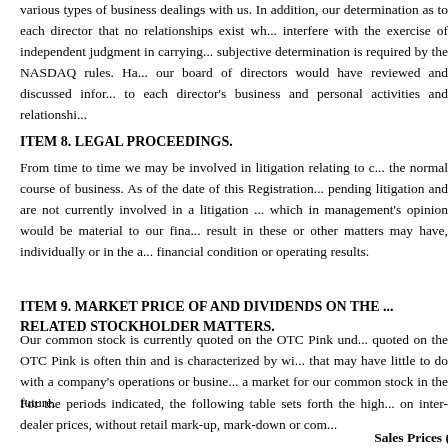various types of business dealings with us. In addition, our determination as to each director that no relationships exist which would interfere with the exercise of independent judgment in carrying out... subjective determination is required by the NASDAQ rules. Had we been listed, our board of directors would have reviewed and discussed information material to each director's business and personal activities and relationships...
ITEM 8. LEGAL PROCEEDINGS.
From time to time we may be involved in litigation relating to claims arising in the normal course of business. As of the date of this Registration Statement, no pending litigation and are not currently involved in a litigation matter which in management's opinion would be material to our financial... result in these or other matters may have, individually or in the aggregate, on our financial condition or operating results.
ITEM 9. MARKET PRICE OF AND DIVIDENDS ON THE ... RELATED STOCKHOLDER MATTERS.
Our common stock is currently quoted on the OTC Pink under... quoted on the OTC Pink is often thin and is characterized by wide price... that may have little to do with a company's operations or business prospects... a market for our common stock in the future.
For the periods indicated, the following table sets forth the high and low bid prices on inter-dealer prices, without retail mark-up, mark-down or commission...
Sales Prices (